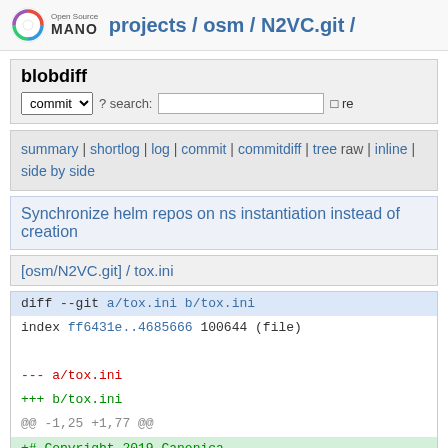Open Source MANO projects / osm / N2VC.git /
blobdiff
commit ? search: re
summary | shortlog | log | commit | commitdiff | tree raw | inline | side by side
Synchronize helm repos on ns instantiation instead of creation
[osm/N2VC.git] / tox.ini
diff --git a/tox.ini b/tox.ini
index ff6431e..4685666 100644 (file)
--- a/tox.ini
+++ b/tox.ini
@@ -1,25 +1,77 @@
+# Copyright 2019 Canonica
+#